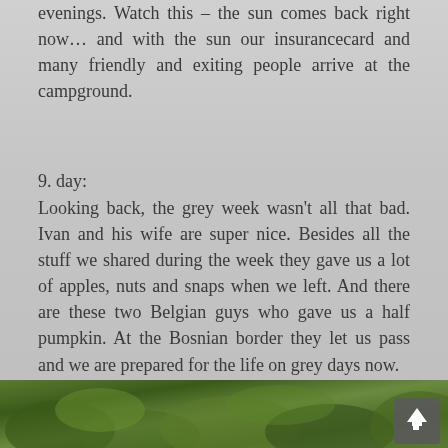evenings. Watch this – the sun comes back right now… and with the sun our insurancecard and many friendly and exiting people arrive at the campground.
9. day:
Looking back, the grey week wasn't all that bad. Ivan and his wife are super nice. Besides all the stuff we shared during the week they gave us a lot of apples, nuts and snaps when we left. And there are these two Belgian guys who gave us a half pumpkin. At the Bosnian border they let us pass and we are prepared for the life on grey days now.
[Figure (photo): Outdoor nature photo showing green trees and foliage, with a navigation back-to-top button in the bottom right corner]